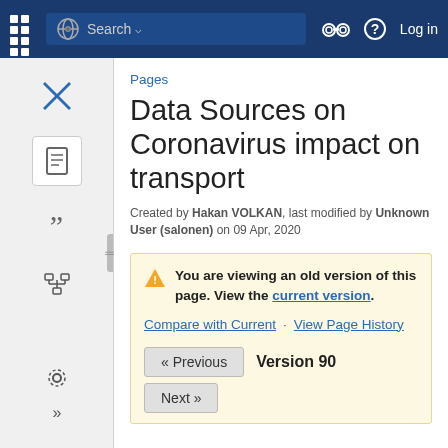Search · Log in
Pages
Data Sources on Coronavirus impact on transport
Created by Hakan VOLKAN, last modified by Unknown User (salonen) on 09 Apr, 2020
You are viewing an old version of this page. View the current version.
Compare with Current · View Page History
« Previous   Version 90
Next »